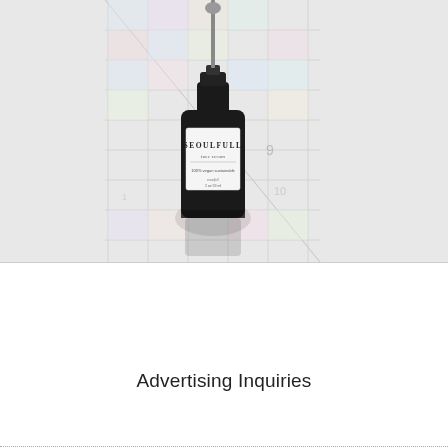[Figure (photo): A dark amber/black glass dropper bottle labeled SEOULFULL face serum, sitting on a reflective iridescent tile surface. A dropper pipette is visible above the bottle.]
Advertising Inquiries